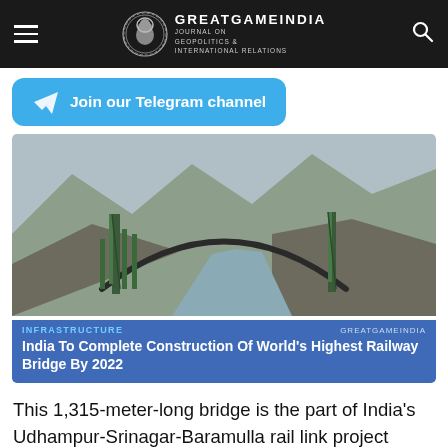GREATGAMEINDIA — Journal on Geopolitics & International Relations
Join our Telegram channel
[Figure (photo): Aerial photo of the world's highest railway bridge arch under construction spanning a river gorge between rocky mountains, with steel scaffolding towers visible on either side. Overlay text: INFRASTRUCTURE | GREATGAMEINDIA | India To Complete Construction Of World's Highest Railway Bridge By 2022]
India To Complete Construction Of World's Highest Railway Bridge By 2022
This 1,315-meter-long bridge is the part of India's Udhampur-Srinagar-Baramulla rail link project (USBRL). It is being built at the height of 359...